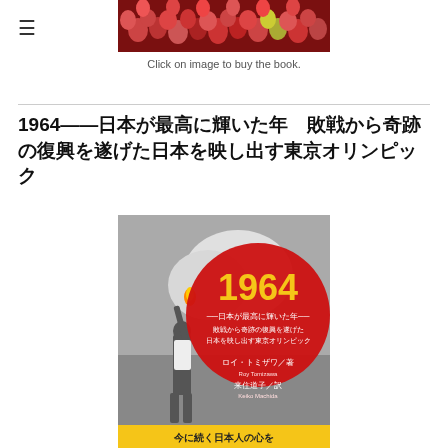[Figure (photo): Top banner image showing a crowd of people, cropped view at the top of the page]
Click on image to buy the book.
1964——日本が最高に輝いた年　敗戦から奇跡の復興を遂げた日本を映し出す東京オリンピック
[Figure (photo): Book cover of '1964 日本が最高に輝いた年' showing a black and white photo of a person holding a torch, with a large red circle and gold '1964' text. Author: ロイ・トミザワ, Translator: 来住道子]